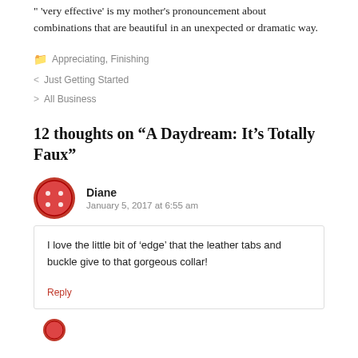" 'very effective' is my mother's pronouncement about combinations that are beautiful in an unexpected or dramatic way.
Appreciating, Finishing
< Just Getting Started
> All Business
12 thoughts on "A Daydream: It's Totally Faux"
Diane
January 5, 2017 at 6:55 am
I love the little bit of 'edge' that the leather tabs and buckle give to that gorgeous collar!
Reply